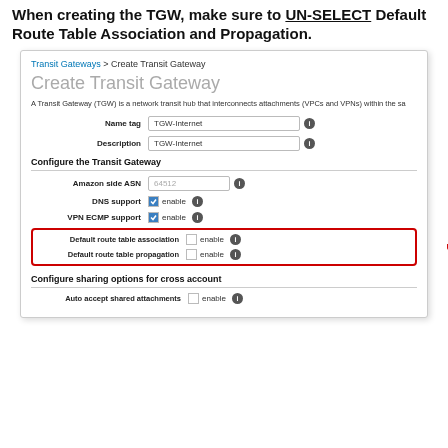When creating the TGW, make sure to UN-SELECT Default Route Table Association and Propagation.
[Figure (screenshot): AWS Console screenshot showing 'Create Transit Gateway' form with fields: Name tag (TGW-Internet), Description (TGW-Internet), Amazon side ASN (64512), DNS support (enabled), VPN ECMP support (enabled), Default route table association (unchecked, enable), Default route table propagation (unchecked, enable). A red border box highlights the Default route table association and propagation rows, with 'Un-select' annotation in red to the right. Also shows 'Configure sharing options for cross account' section with Auto accept shared attachments (unchecked).]